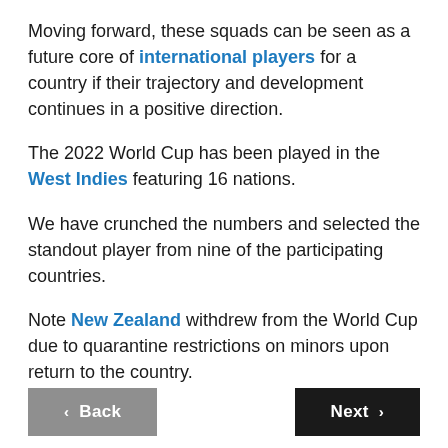Moving forward, these squads can be seen as a future core of international players for a country if their trajectory and development continues in a positive direction.
The 2022 World Cup has been played in the West Indies featuring 16 nations.
We have crunched the numbers and selected the standout player from nine of the participating countries.
Note New Zealand withdrew from the World Cup due to quarantine restrictions on minors upon return to the country.